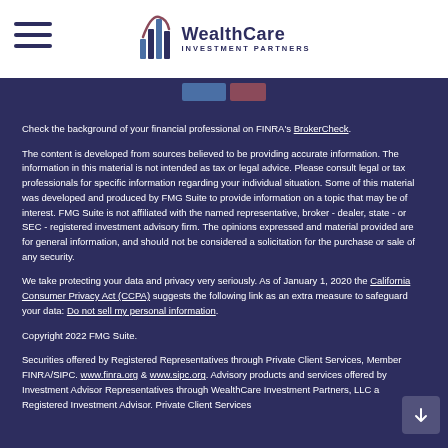[Figure (logo): WealthCare Investment Partners logo with stylized bar chart icon and company name]
Check the background of your financial professional on FINRA's BrokerCheck.
The content is developed from sources believed to be providing accurate information. The information in this material is not intended as tax or legal advice. Please consult legal or tax professionals for specific information regarding your individual situation. Some of this material was developed and produced by FMG Suite to provide information on a topic that may be of interest. FMG Suite is not affiliated with the named representative, broker - dealer, state - or SEC - registered investment advisory firm. The opinions expressed and material provided are for general information, and should not be considered a solicitation for the purchase or sale of any security.
We take protecting your data and privacy very seriously. As of January 1, 2020 the California Consumer Privacy Act (CCPA) suggests the following link as an extra measure to safeguard your data: Do not sell my personal information.
Copyright 2022 FMG Suite.
Securities offered by Registered Representatives through Private Client Services, Member FINRA/SIPC. www.finra.org & www.sipc.org. Advisory products and services offered by Investment Advisor Representatives through WealthCare Investment Partners, LLC a Registered Investment Advisor. Private Client Services